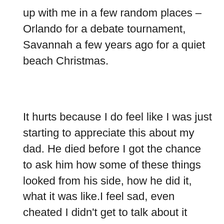up with me in a few random places – Orlando for a debate tournament, Savannah a few years ago for a quiet beach Christmas.
It hurts because I do feel like I was just starting to appreciate this about my dad. He died before I got the chance to ask him how some of these things looked from his side, how he did it, what it was like.I feel sad, even cheated I didn't get to talk about it more with him.
My dad was a meticulous, quiet guy. It would be easy to mistake the quietness for stillness, but there was nothing still about him. He was always solving the next puzzle, learning the next new